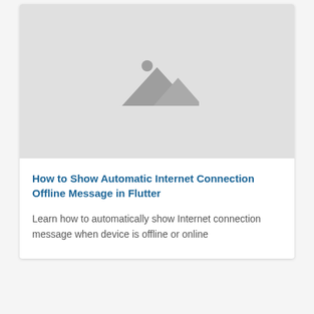[Figure (illustration): Gray placeholder image with a mountain and sun/circle icon, representing a missing or placeholder image thumbnail]
How to Show Automatic Internet Connection Offline Message in Flutter
Learn how to automatically show Internet connection message when device is offline or online